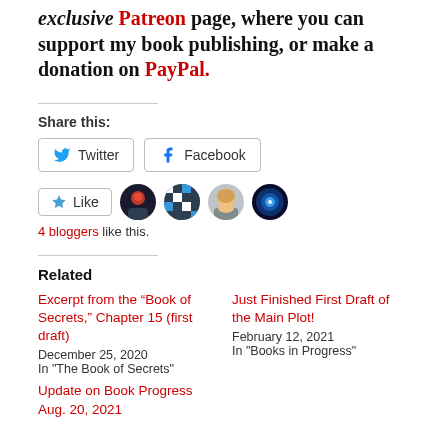exclusive Patreon page, where you can support my book publishing, or make a donation on PayPal.
Share this:
[Figure (other): Twitter and Facebook share buttons]
[Figure (other): Like button and 4 blogger avatars]
4 bloggers like this.
Related
Excerpt from the “Book of Secrets,” Chapter 15 (first draft)
December 25, 2020
In "The Book of Secrets"
Just Finished First Draft of the Main Plot!
February 12, 2021
In "Books in Progress"
Update on Book Progress Aug. 20, 2021